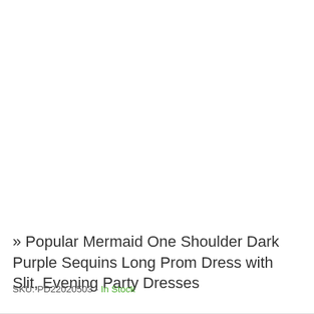» Popular Mermaid One Shoulder Dark Purple Sequins Long Prom Dress with Slit, Evening Party Dresses
SKU: PD22020503 - In Stock